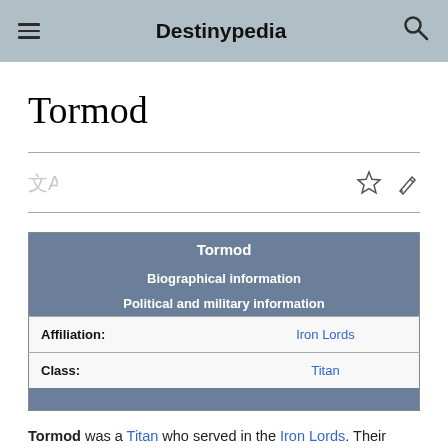Destinypedia
Tormod
| Tormod |  |
| --- | --- |
| Biographical information |  |
| Political and military information |  |
| Affiliation: | Iron Lords |
| Class: | Titan |
Tormod was a Titan who served in the Iron Lords. Their